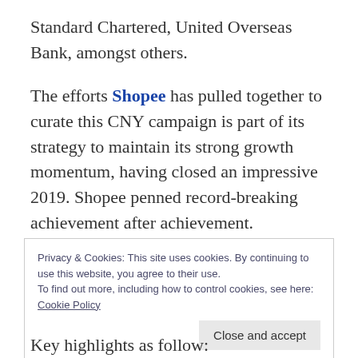Standard Chartered, United Overseas Bank, amongst others.
The efforts Shopee has pulled together to curate this CNY campaign is part of its strategy to maintain its strong growth momentum, having closed an impressive 2019. Shopee penned record-breaking achievement after achievement.
Privacy & Cookies: This site uses cookies. By continuing to use this website, you agree to their use.
To find out more, including how to control cookies, see here:
Cookie Policy

Close and accept
Key highlights as follow: